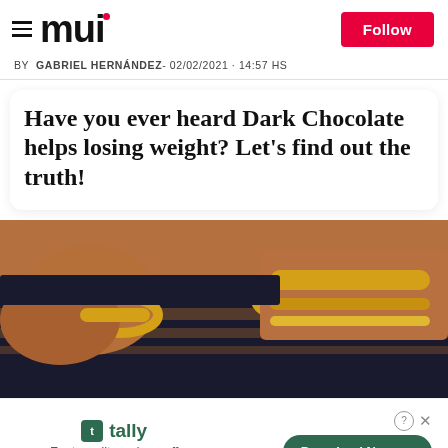mui
BY GABRIEL HERNÁNDEZ- 02/02/2021 · 14:57 HS
Have you ever heard Dark Chocolate helps losing weight? Let's find out the truth!
[Figure (photo): Close-up photo of a woman's torso wearing a black swimsuit with horizontal stripe cutouts and gold bangles on her wrist]
tally Fast credit card payoff  Download Now →